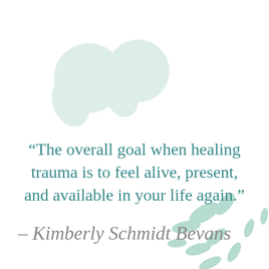[Figure (illustration): Large decorative quotation mark (closing double quotes) in pale mint/green color as background decoration, plus scattered leaf/petal shapes in muted green at bottom right]
“The overall goal when healing trauma is to feel alive, present, and available in your life again.”
– Kimberly Schmidt Bevans